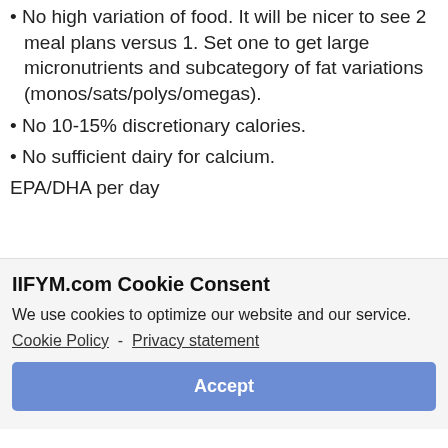• No high variation of food. It will be nicer to see 2 meal plans versus 1. Set one to get large micronutrients and subcategory of fat variations (monos/sats/polys/omegas).
• No 10-15% discretionary calories.
• No sufficient dairy for calcium.
• Use of magical protocols for “alpha
IIFYM.com Cookie Consent
We use cookies to optimize our website and our service.
Cookie Policy  -  Privacy statement
Accept
EPA/DHA per day